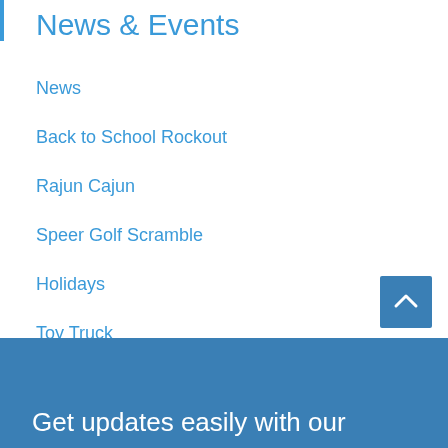News & Events
News
Back to School Rockout
Rajun Cajun
Speer Golf Scramble
Holidays
Toy Truck
Get updates easily with our